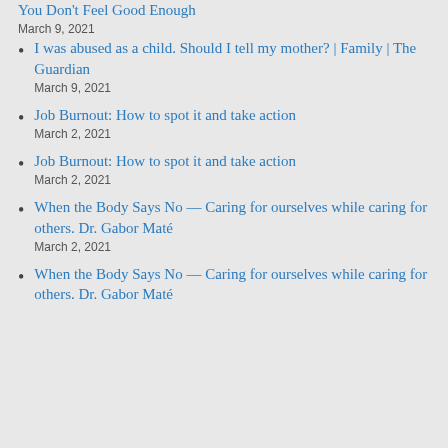How to Believe in Yourself When You Don't Feel Good Enough
March 9, 2021
I was abused as a child. Should I tell my mother? | Family | The Guardian
March 9, 2021
Job Burnout: How to spot it and take action
March 2, 2021
Job Burnout: How to spot it and take action
March 2, 2021
When the Body Says No — Caring for ourselves while caring for others. Dr. Gabor Maté
March 2, 2021
When the Body Says No — Caring for ourselves while caring for others. Dr. Gabor Maté